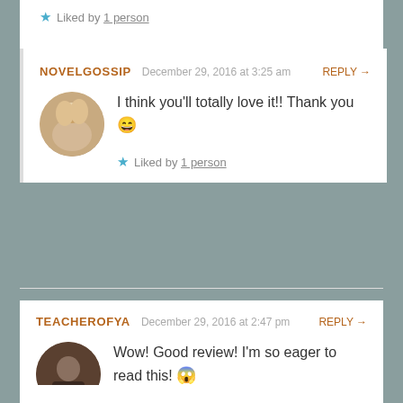★ Liked by 1 person
NOVELGOSSIP  December 29, 2016 at 3:25 am   REPLY →
I think you'll totally love it!! Thank you 😄
★ Liked by 1 person
TEACHEROFYA  December 29, 2016 at 2:47 pm   REPLY →
Wow! Good review! I'm so eager to read this! 😱🙀😱🙀😱
★ Liked by 1 person